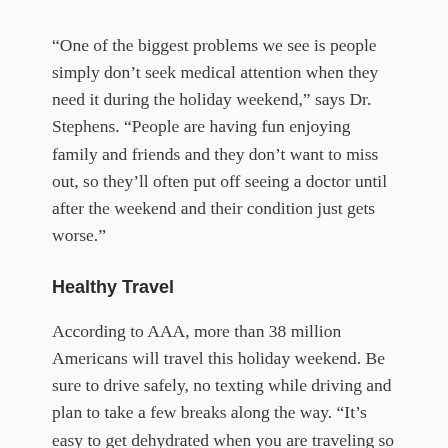“One of the biggest problems we see is people simply don’t seek medical attention when they need it during the holiday weekend,” says Dr. Stephens. “People are having fun enjoying family and friends and they don’t want to miss out, so they’ll often put off seeing a doctor until after the weekend and their condition just gets worse.”
Healthy Travel
According to AAA, more than 38 million Americans will travel this holiday weekend. Be sure to drive safely, no texting while driving and plan to take a few breaks along the way. “It’s easy to get dehydrated when you are traveling so don’t forget to drink plenty of water — especially if you